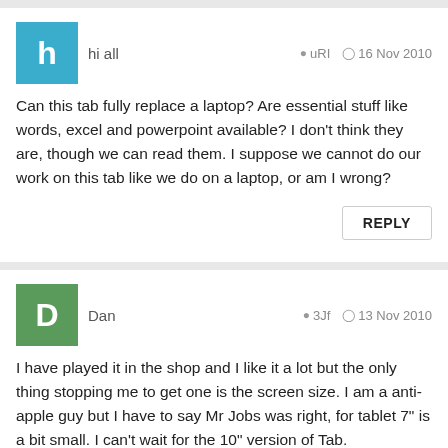hi all    uRI   16 Nov 2010
Can this tab fully replace a laptop? Are essential stuff like words, excel and powerpoint available? I don't think they are, though we can read them. I suppose we cannot do our work on this tab like we do on a laptop, or am I wrong?
REPLY
Dan    3Jf   13 Nov 2010
I have played it in the shop and I like it a lot but the only thing stopping me to get one is the screen size. I am a anti-apple guy but I have to say Mr Jobs was right, for tablet 7" is a bit small. I can't wait for the 10" version of Tab.